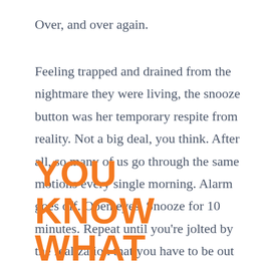Over, and over again.
Feeling trapped and drained from the nightmare they were living, the snooze button was her temporary respite from reality. Not a big deal, you think. After all, so many of us go through the same motions every single morning. Alarm goes off. Open eyes. Snooze for 10 minutes. Repeat until you're jolted by the realization that you have to be out the door in 20.
YOU KNOW WHAT